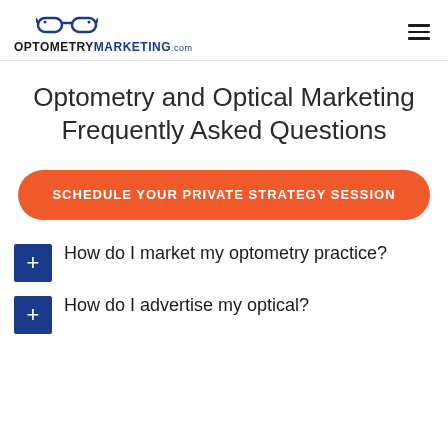OPTOMETRYMARKETING.com
Optometry and Optical Marketing Frequently Asked Questions
SCHEDULE YOUR PRIVATE STRATEGY SESSION
How do I market my optometry practice?
How do I advertise my optical?